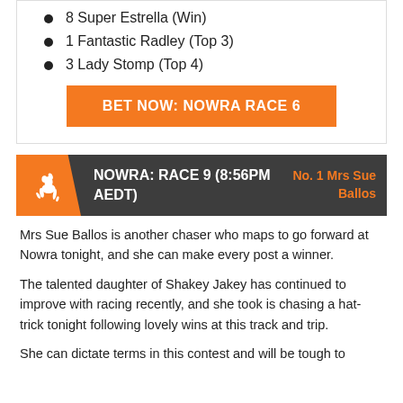8 Super Estrella (Win)
1 Fantastic Radley (Top 3)
3 Lady Stomp (Top 4)
BET NOW: NOWRA RACE 6
NOWRA: RACE 9 (8:56PM AEDT) — No. 1 Mrs Sue Ballos
Mrs Sue Ballos is another chaser who maps to go forward at Nowra tonight, and she can make every post a winner.
The talented daughter of Shakey Jakey has continued to improve with racing recently, and she took is chasing a hat-trick tonight following lovely wins at this track and trip.
She can dictate terms in this contest and will be tough to